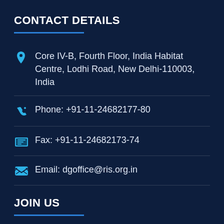CONTACT DETAILS
Core IV-B, Fourth Floor, India Habitat Centre, Lodhi Road, New Delhi-110003, India
Phone: +91-11-24682177-80
Fax: +91-11-24682173-74
Email: dgoffice@ris.org.in
JOIN US
[Figure (infographic): Social media icon buttons: Facebook, Behance, LinkedIn, Pinterest, Twitter]